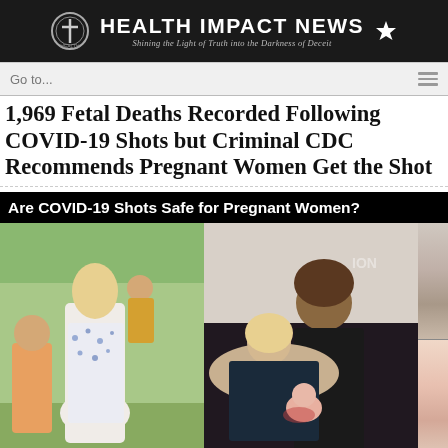HEALTH IMPACT NEWS — Shining the Light of Truth into the Darkness of Deceit
Go to...
1,969 Fetal Deaths Recorded Following COVID-19 Shots but Criminal CDC Recommends Pregnant Women Get the Shot
[Figure (photo): Composite photo with caption 'Are COVID-19 Shots Safe for Pregnant Women?' showing pregnant women and family scenes]
Are COVID-19 Shots Safe for Pregnant Women?